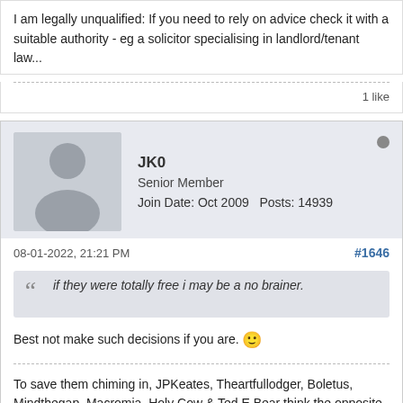I am legally unqualified: If you need to rely on advice check it with a suitable authority - eg a solicitor specialising in landlord/tenant law...
1 like
JK0
Senior Member
Join Date: Oct 2009    Posts: 14939
08-01-2022, 21:21 PM
#1646
if they were totally free i may be a no brainer.
Best not make such decisions if you are. 🙂
To save them chiming in, JPKeates, Theartfullodger, Boletus, Mindthegap, Macromia, Holy Cow & Ted.E.Bear think the opposite of